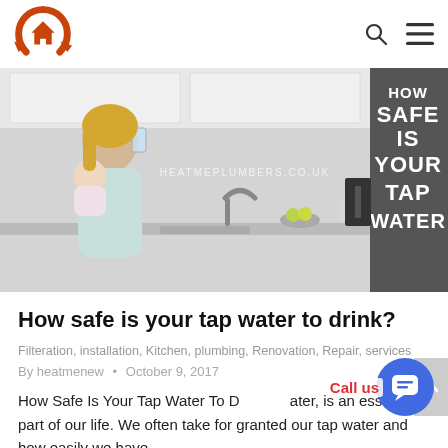HeatMe Plumbers logo, search icon, menu icon
[Figure (photo): A woman holding a baby and drinking a glass of water in a modern kitchen, with text overlay reading 'HOW SAFE IS YOUR TAP WATER' and watermark HEATMEPLUMBERS.CO.UK]
How safe is your tap water to drink?
Filteration, installation, Kitchen, plumbing, Renovation, Repair, services
By heatmenew • October 9, 2017
How Safe Is Your Tap Water To Drink? Water is an essential part of our life. We often take for granted our tap water and how easily we have